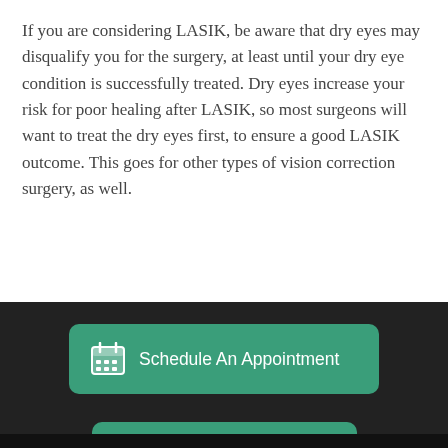If you are considering LASIK, be aware that dry eyes may disqualify you for the surgery, at least until your dry eye condition is successfully treated. Dry eyes increase your risk for poor healing after LASIK, so most surgeons will want to treat the dry eyes first, to ensure a good LASIK outcome. This goes for other types of vision correction surgery, as well.
[Figure (infographic): Green rounded button with calendar icon and text 'Schedule An Appointment' on dark background]
[Figure (infographic): Green rounded button with phone icon and text 'Call: 833-219-0010' on dark background]